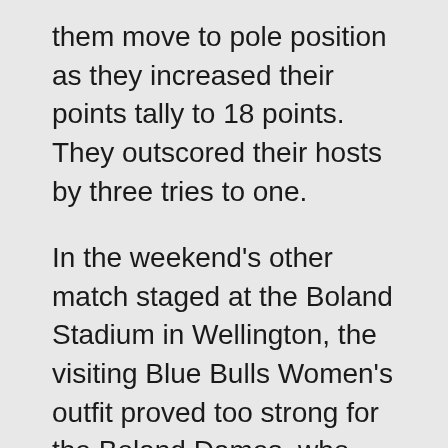them move to pole position as they increased their points tally to 18 points. They outscored their hosts by three tries to one.
In the weekend's other match staged at the Boland Stadium in Wellington, the visiting Blue Bulls Women's outfit proved too strong for the Boland Dames, who had good support from their passionate fans.
The team from Pretoria won 24-5 with a game based on their strong forward pack and fast-paced backline. The home team tried valiantly, especially during the opening period of the first half and during the latter stages of the second stanza.
However, the Blue Bulls Women kept their composure and made the most of their scoring